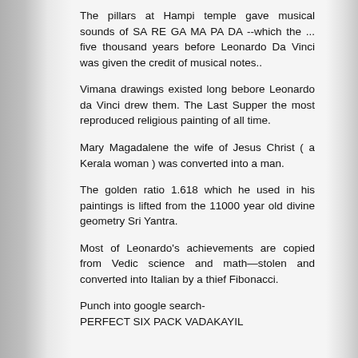The pillars at Hampi temple gave musical sounds of SA RE GA MA PA DA --which the ... five thousand years before Leonardo Da Vinci was given the credit of musical notes..
Vimana drawings existed long bebore Leonardo da Vinci drew them. The Last Supper the most reproduced religious painting of all time.
Mary Magadalene the wife of Jesus Christ ( a Kerala woman ) was converted into a man.
The golden ratio 1.618 which he used in his paintings is lifted from the 11000 year old divine geometry Sri Yantra.
Most of Leonardo's achievements are copied from Vedic science and math—stolen and converted into Italian by a thief Fibonacci.
Punch into google search-
PERFECT SIX PACK VADAKAYIL